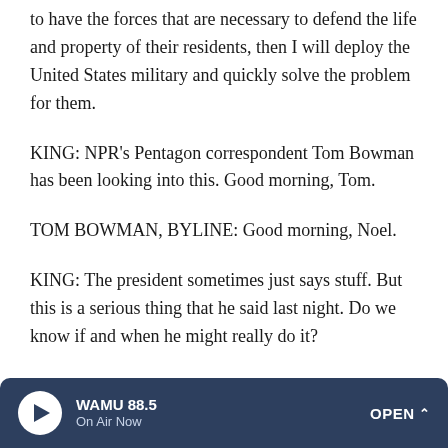to have the forces that are necessary to defend the life and property of their residents, then I will deploy the United States military and quickly solve the problem for them.
KING: NPR's Pentagon correspondent Tom Bowman has been looking into this. Good morning, Tom.
TOM BOWMAN, BYLINE: Good morning, Noel.
KING: The president sometimes just says stuff. But this is a serious thing that he said last night. Do we know if and when he might really do it?
BOWMAN: No, we don't. And, as you say, you know, he'll say all sorts of things. This appears to be more bluster on the part of the president, quite frankly, and trying to score.
WAMU 88.5  On Air Now  OPEN